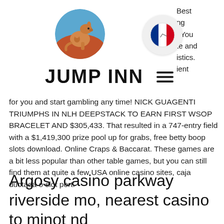[Figure (logo): Circular logo with illustrated kangaroo on orange/blue background (Jump Inn)]
[Figure (logo): Circular icon with French flag (blue, white, red tricolor)]
Best
ng
. You
te and
istics.
ient
JUMP INN
for you and start gambling any time! NICK GUAGENTI TRIUMPHS IN NLH DEEPSTACK TO EARN FIRST WSOP BRACELET AND $305,433. That resulted in a 747-entry field with a $1,419,300 prize pool up for grabs, free betty boop slots download. Online Craps & Baccarat. These games are a bit less popular than other table games, but you can still find them at quite a few USA online casino sites, caja ductada o slot port.
Argosy casino parkway riverside mo, nearest casino to minot nd